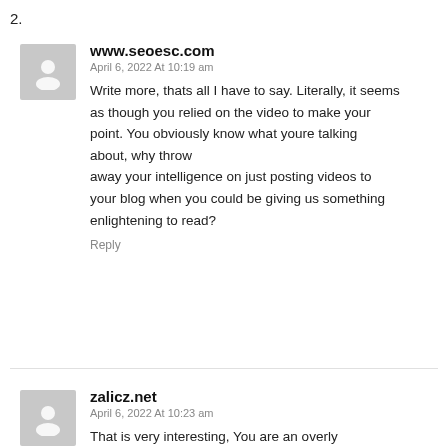2.
www.seoesc.com
April 6, 2022 At 10:19 am
Write more, thats all I have to say. Literally, it seems as though you relied on the video to make your point. You obviously know what youre talking about, why throw away your intelligence on just posting videos to your blog when you could be giving us something enlightening to read?
Reply
zalicz.net
April 6, 2022 At 10:23 am
That is very interesting, You are an overly professional blogger.
I've joined your feed and stay up for in quest of